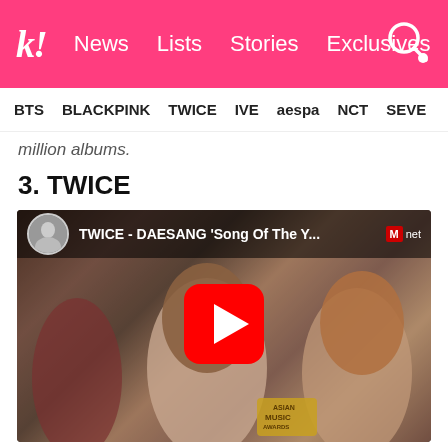k! News Lists Stories Exclusives
BTS BLACKPINK TWICE IVE aespa NCT SEVE
million albums.
3. TWICE
[Figure (screenshot): YouTube video thumbnail showing TWICE - DAESANG 'Song Of The Y... with Mnet logo, featuring TWICE members at Asian Music Awards ceremony]